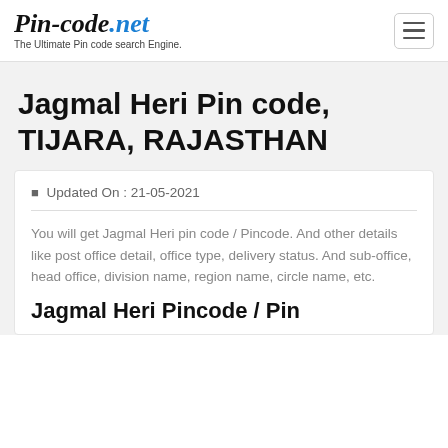Pin-code.net — The Ultimate Pin code search Engine.
Jagmal Heri Pin code, TIJARA, RAJASTHAN
Updated On : 21-05-2021
You will get Jagmal Heri pin code / Pincode. And other details like post office detail, office type, delivery status. And sub-office, head office, division name, region name, circle name, etc.
Jagmal Heri Pincode / Pin